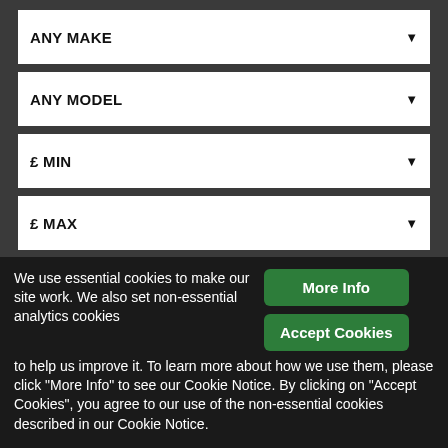ANY MAKE
ANY MODEL
£ MIN
£ MAX
CATEGORY (ANY)
FUEL TYPE (ANY)
TRANSMISSION (ANY)
Search
We use essential cookies to make our site work. We also set non-essential analytics cookies to help us improve it. To learn more about how we use them, please click "More Info" to see our Cookie Notice. By clicking on "Accept Cookies", you agree to our use of the non-essential cookies described in our Cookie Notice.